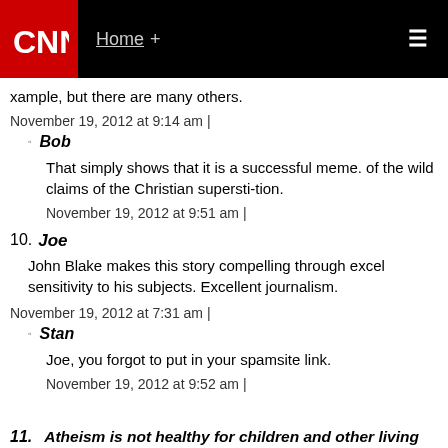CNN | Home +
xample, but there are many others.
November 19, 2012 at 9:14 am |
Bob
That simply shows that it is a successful meme. of the wild claims of the Christian supersti-tion.
November 19, 2012 at 9:51 am |
10. Joe
John Blake makes this story compelling through excel sensitivity to his subjects. Excellent journalism.
November 19, 2012 at 7:31 am |
Stan
Joe, you forgot to put in your spamsite link.
November 19, 2012 at 9:52 am |
11. Atheism is not healthy for children and other living